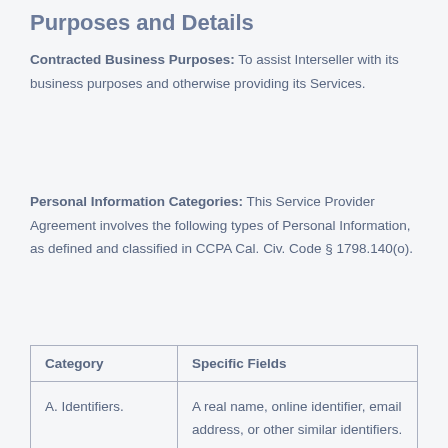Purposes and Details
Contracted Business Purposes: To assist Interseller with its business purposes and otherwise providing its Services.
Personal Information Categories: This Service Provider Agreement involves the following types of Personal Information, as defined and classified in CCPA Cal. Civ. Code § 1798.140(o).
| Category | Specific Fields |
| --- | --- |
| A. Identifiers. | A real name, online identifier, email address, or other similar identifiers. |